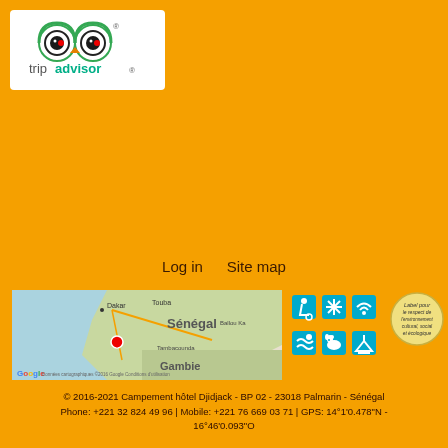[Figure (logo): TripAdvisor logo on white background]
Log in  Site map
[Figure (map): Google Map showing Senegal and Gambie with a red location pin near Palmarin]
[Figure (infographic): Accessibility and amenity icons: wheelchair, snowflake/AC, wifi, swimming, pet-friendly, boat icons]
[Figure (logo): Label pour le respect de l'environnement cultural, social et ecologique circular badge]
© 2016-2021 Campement hôtel Djidjack - BP 02 - 23018 Palmarin - Sénégal
Phone: +221 32 824 49 96 | Mobile: +221 76 669 03 71 | GPS: 14°1'0.478"N - 16°46'0.093"O